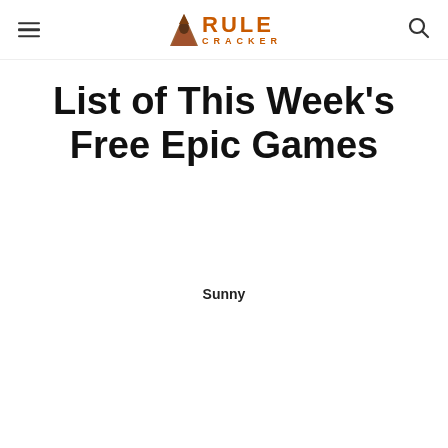Rule Cracker — menu and search icons
List of This Week's Free Epic Games
Sunny